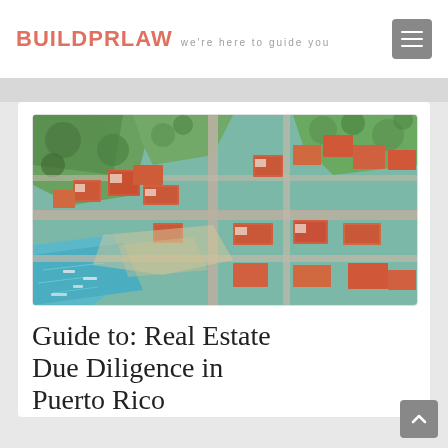BUILDPRLAW  we're here to guide you
[Figure (photo): Aerial drone view of a coastal town with terracotta-roofed buildings, streets, green trees, and turquoise water visible at the bottom-left corner.]
Guide to: Real Estate Due Diligence in Puerto Rico